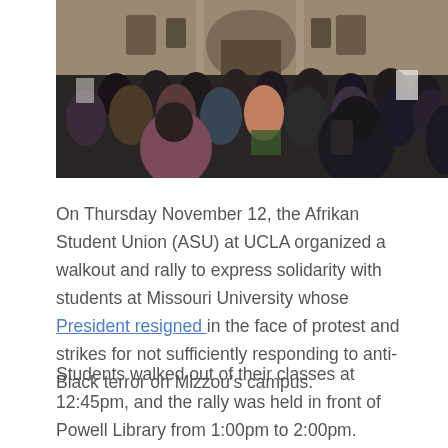[Figure (photo): Crowd of students gathered in front of a large stone building (Powell Library at UCLA) for a walkout and rally.]
On Thursday November 12, the Afrikan Student Union (ASU) at UCLA organized a walkout and rally to express solidarity with students at Missouri University whose President resigned in the face of protest and strikes for not sufficiently responding to anti-Black terror on Mizzou's campus.
Students walked out of their classes at 12:45pm, and the rally was held in front of Powell Library from 1:00pm to 2:00pm.